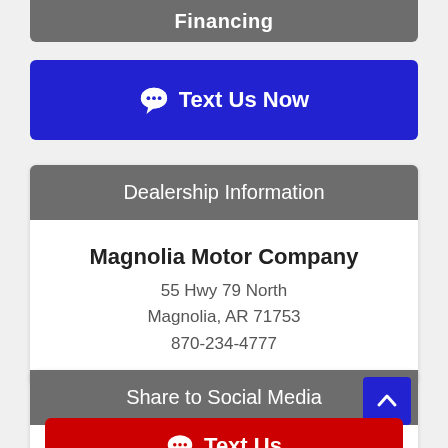Financing
Text Us Now
Dealership Information
Magnolia Motor Company
55 Hwy 79 North
Magnolia, AR 71753
870-234-4777
Share to Social Media
Text Us